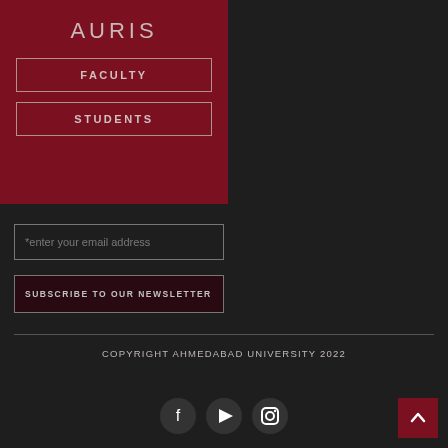AURIS
FACULTY
STUDENTS
*enter your email address
SUBSCRIBE TO OUR NEWSLETTER
COPYRIGHT AHMEDABAD UNIVERSITY 2022